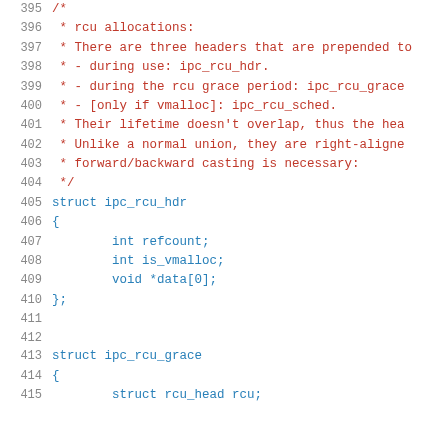Source code listing, lines 395-415, showing rcu allocations struct definitions in C
395: /*
396:  * rcu allocations:
397:  * There are three headers that are prepended to
398:  * - during use: ipc_rcu_hdr.
399:  * - during the rcu grace period: ipc_rcu_grace
400:  * - [only if vmalloc]: ipc_rcu_sched.
401:  * Their lifetime doesn't overlap, thus the hea
402:  * Unlike a normal union, they are right-aligne
403:  * forward/backward casting is necessary:
404:  */
405: struct ipc_rcu_hdr
406: {
407:         int refcount;
408:         int is_vmalloc;
409:         void *data[0];
410: };
411:
412:
413: struct ipc_rcu_grace
414: {
415:         struct rcu_head rcu;